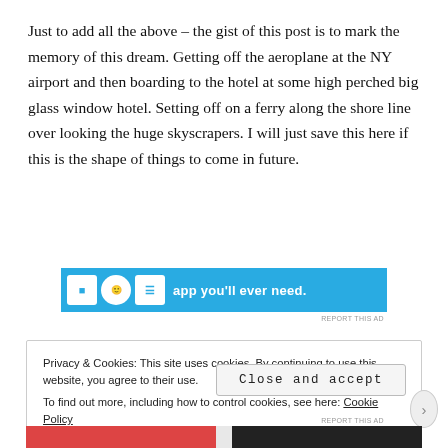Just to add all the above – the gist of this post is to mark the memory of this dream. Getting off the aeroplane at the NY airport and then boarding to the hotel at some high perched big glass window hotel. Setting off on a ferry along the shore line over looking the huge skyscrapers. I will just save this here if this is the shape of things to come in future.
[Figure (screenshot): Partial advertisement banner with blue background showing icons and text 'app you'll ever need.']
Privacy & Cookies: This site uses cookies. By continuing to use this website, you agree to their use.
To find out more, including how to control cookies, see here: Cookie Policy
Close and accept